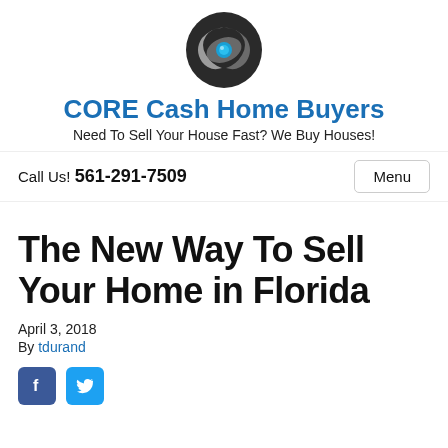[Figure (logo): CORE Cash Home Buyers circular logo with blue dot and silver swirl on dark background]
CORE Cash Home Buyers
Need To Sell Your House Fast? We Buy Houses!
Call Us! 561-291-7509
The New Way To Sell Your Home in Florida
April 3, 2018
By tdurand